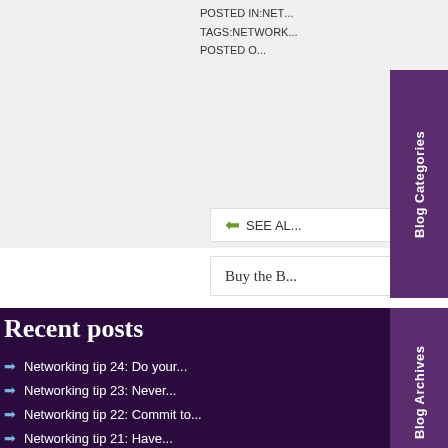POSTED IN:NET...
TAGS:NETWORK...
POSTED O...
[Figure (other): Blog Categories vertical tab on right side, purple background]
➡ SEE AL...
Buy the B...
Recent posts
Con...
[Figure (other): Blog Archives vertical tab on right side, purple background]
Networking tip 24: Do your...
Networking tip 23: Never...
Networking tip 22: Commit to...
Networking tip 21: Have...
Networking tip 20: Focus on...
Your na...
Your e-mail...